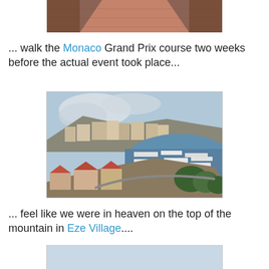[Figure (photo): Partial photo of what appears to be a red-brick pathway or steps, cropped at top of page]
... walk the Monaco Grand Prix course two weeks before the actual event took place...
[Figure (photo): Aerial view of Monaco harbor showing densely packed yachts, buildings climbing hillside, cloudy sky]
... feel like we were in heaven on the top of the mountain in Eze Village....
[Figure (photo): Coastal aerial view from Eze Village showing Mediterranean coastline, peninsula, blue sea, and green hills]